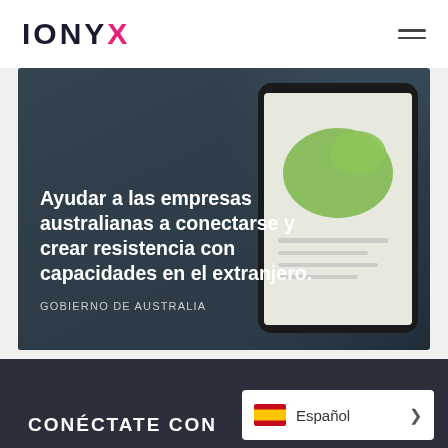[Figure (logo): IONYX logo with pink X letter]
[Figure (screenshot): Hero banner showing a tablet with Australia map, dark grey gradient background with Spanish headline text]
Ayudar a las empresas australianas a conectarse y crear resistencia con capacidades en el extranjero.
GOBIERNO DE AUSTRALIA
Más estudios de casos
CONÉCTATE CON
Español